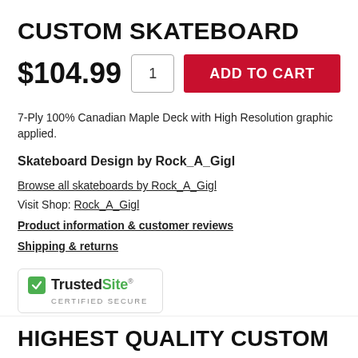CUSTOM SKATEBOARD
$104.99  1  ADD TO CART
7-Ply 100% Canadian Maple Deck with High Resolution graphic applied.
Skateboard Design by Rock_A_Gigl
Browse all skateboards by Rock_A_Gigl
Visit Shop: Rock_A_Gigl
Product information & customer reviews
Shipping & returns
[Figure (logo): TrustedSite Certified Secure badge — green checkbox icon, bold TrustedSite text, CERTIFIED SECURE label below]
HIGHEST QUALITY CUSTOM